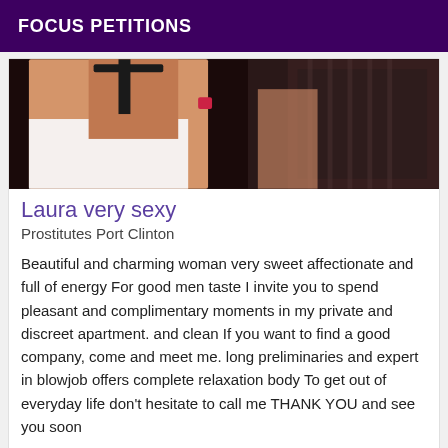FOCUS PETITIONS
[Figure (photo): Photo of person in black lingerie on white background]
Laura very sexy
Prostitutes Port Clinton
Beautiful and charming woman very sweet affectionate and full of energy For good men taste I invite you to spend pleasant and complimentary moments in my private and discreet apartment. and clean If you want to find a good company, come and meet me. long preliminaries and expert in blowjob offers complete relaxation body To get out of everyday life don't hesitate to call me THANK YOU and see you soon
[Figure (photo): Photo of person with dark hair against light blue background]